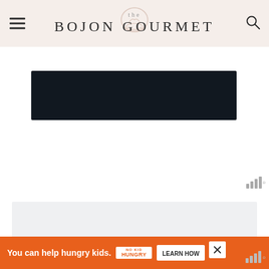the BOJON GOURMET
[Figure (other): Dark navy/black rectangular banner ad placeholder]
[Figure (other): Light gray rectangular content placeholder area]
[Figure (other): Orange advertisement banner: 'You can help hungry kids. NO KID HUNGRY LEARN HOW' with close button]